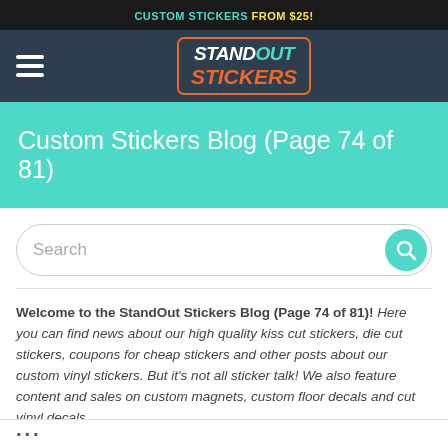CUSTOM STICKERS FROM $25!
[Figure (logo): StandOut Stickers logo — hamburger menu icon on the left, logo with STAND OUT STICKERS text in the center on dark navy background]
Custom Stickers Blog (Page 74 of 81)
Search
Welcome to the StandOut Stickers Blog (Page 74 of 81)! Here you can find news about our high quality kiss cut stickers, die cut stickers, coupons for cheap stickers and other posts about our custom vinyl stickers. But it's not all sticker talk! We also feature content and sales on custom magnets, custom floor decals and cut vinyl decals.
...